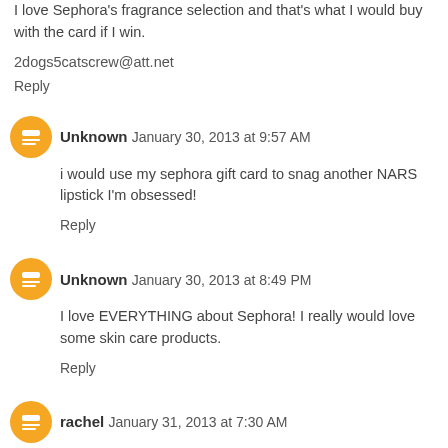I love Sephora's fragrance selection and that's what I would buy with the card if I win.
2dogs5catscrew@att.net
Reply
Unknown  January 30, 2013 at 9:57 AM
i would use my sephora gift card to snag another NARS lipstick I'm obsessed!
Reply
Unknown  January 30, 2013 at 8:49 PM
I love EVERYTHING about Sephora! I really would love some skin care products.
Reply
rachel  January 31, 2013 at 7:30 AM